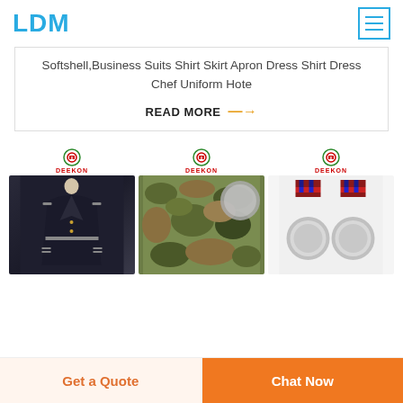LDM
Softshell,Business Suits Shirt Skirt Apron Dress Shirt Dress Chef Uniform Hote
READ MORE →
[Figure (photo): Three product images with Deekon brand logo: a dark military dress uniform coat on a mannequin, camouflage fabric material, and military medals/ribbons]
Get a Quote
Chat Now